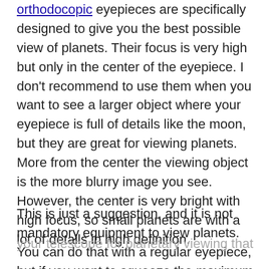orthodocopic eyepieces are specifically designed to give you the best possible view of planets. Their focus is very high but only in the center of the eyepiece. I don't recommend to use them when you want to see a larger object where your eyepiece is full of details like the moon, but they are great for viewing planets. More from the center the viewing object is the more blurry image you see. However, the center is very bright with high focus, so small planets are with a lot of details in high definition.
This is just a suggestion, and it is not mandatory equipment to view planets. You can do that with a regular eyepiece, but if you want to squeeze the maximum from your telescope for planetary viewing that it...